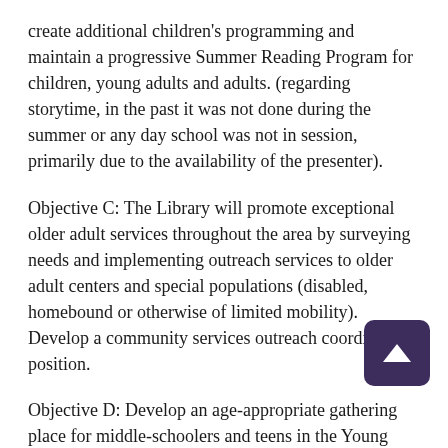create additional children's programming and maintain a progressive Summer Reading Program for children, young adults and adults. (regarding storytime, in the past it was not done during the summer or any day school was not in session, primarily due to the availability of the presenter).
Objective C: The Library will promote exceptional older adult services throughout the area by surveying needs and implementing outreach services to older adult centers and special populations (disabled, homebound or otherwise of limited mobility). Develop a community services outreach coordinator position.
Objective D: Develop an age-appropriate gathering place for middle-schoolers and teens in the Young Adult section of the library.
Objective E: Create and maintain a Teen Advisory Group, one that might convene once or twice a year) that will